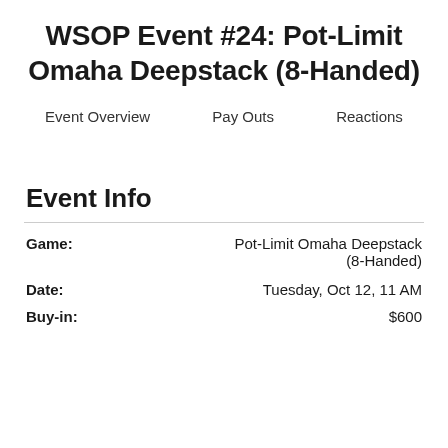WSOP Event #24: Pot-Limit Omaha Deepstack (8-Handed)
Event Overview   Pay Outs   Reactions
Event Info
| Game: | Pot-Limit Omaha Deepstack (8-Handed) |
| Date: | Tuesday, Oct 12, 11 AM |
| Buy-in: | $600 |